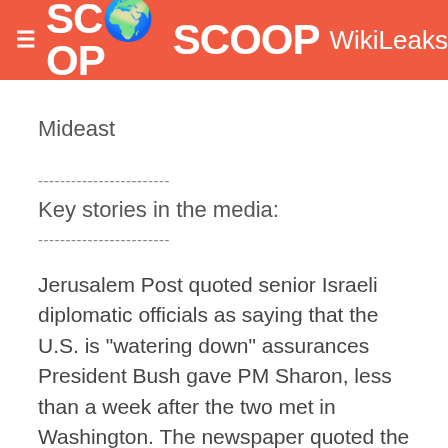SCOOP WikiLeaks
Mideast
------------------------
Key stories in the media:
------------------------
Jerusalem Post quoted senior Israeli diplomatic officials as saying that the U.S. is "watering down" assurances President Bush gave PM Sharon, less than a week after the two met in Washington. The newspaper quoted the officials as saying that as a result of pressure on Washington from the Arab world and